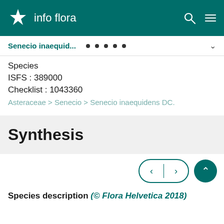info flora
Senecio inaequid...
Species
ISFS : 389000
Checklist : 1043360
Asteraceae > Senecio > Senecio inaequidens DC.
Synthesis
Species description (© Flora Helvetica 2018)